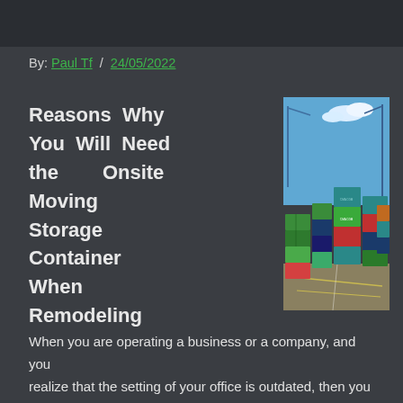By: Paul Tf / 24/05/2022
Reasons Why You Will Need the Onsite Moving Storage Container When Remodeling
[Figure (photo): Stacked colorful shipping containers at a port yard under a blue sky with cranes in the background]
When you are operating a business or a company, and you realize that the setting of your office is outdated, then you